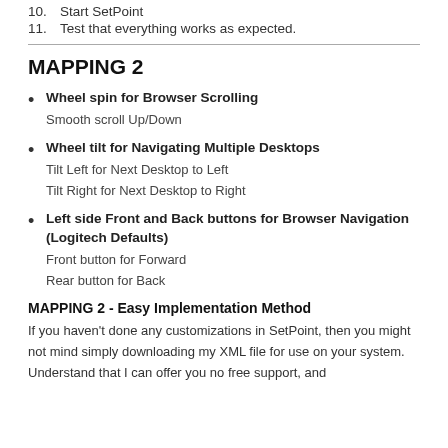10. Start SetPoint
11. Test that everything works as expected.
MAPPING 2
Wheel spin for Browser Scrolling
Smooth scroll Up/Down
Wheel tilt for Navigating Multiple Desktops
Tilt Left for Next Desktop to Left
Tilt Right for Next Desktop to Right
Left side Front and Back buttons for Browser Navigation (Logitech Defaults)
Front button for Forward
Rear button for Back
MAPPING 2 - Easy Implementation Method
If you haven't done any customizations in SetPoint, then you might not mind simply downloading my XML file for use on your system. Understand that I can offer you no free support, and